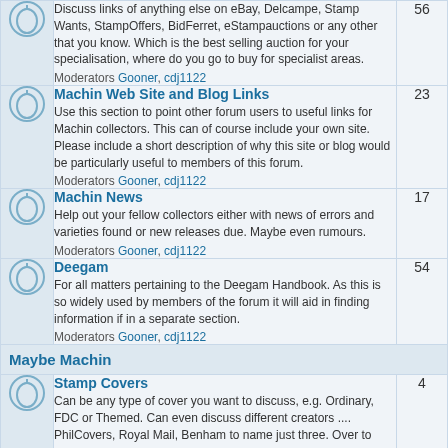Discuss links of anything else on eBay, Delcampe, Stamp Wants, StampOffers, BidFerret, eStampauctions or any other that you know. Which is the best selling auction for your specialisation, where do you go to buy for specialist areas. Moderators Gooner, cdj1122. Count: 56
Machin Web Site and Blog Links. Use this section to point other forum users to useful links for Machin collectors. This can of course include your own site. Please include a short description of why this site or blog would be particularly useful to members of this forum. Moderators Gooner, cdj1122. Count: 23
Machin News. Help out your fellow collectors either with news of errors and varieties found or new releases due. Maybe even rumours. Moderators Gooner, cdj1122. Count: 17
Deegam. For all matters pertaining to the Deegam Handbook. As this is so widely used by members of the forum it will aid in finding information if in a separate section. Moderators Gooner, cdj1122. Count: 54
Maybe Machin
Stamp Covers. Can be any type of cover you want to discuss, e.g. Ordinary, FDC or Themed. Can even discuss different creators .... PhilCovers, Royal Mail, Benham to name just three. Over to you. Moderators Gooner, cdj1122. Count: 4
Hong Kong Machins. Many collectors may not be aware but definitives from the Colony of Hong Kong were also created using the Arnold Machin bust. This is the space for discussing these. Moderators Gooner, cdj1122. Count: 6
Rest of The World Machins. For anything other than Hong Kong and GB. If any other country...